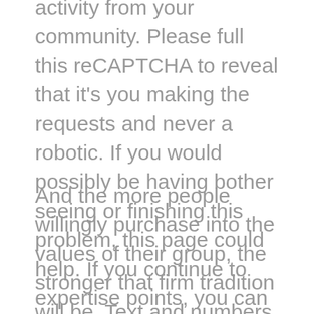activity from your community. Please full this reCAPTCHA to reveal that it's you making the requests and never a robotic. If you would possibly be having bother seeing or finishing this problem, this page could help. If you continue to expertise points, you can contact JSTOR support. Try it now It solely takes a couple of minutes to setup and you can cancel any time.
And the more people willingly purchase into the values of their group, the stronger that firm tradition will be. Text and numbers can be aligned to the left, proper or middle of a cell, as well as to the highest, center and bottom. Excel has created short-cut icons, located in the Alignment grouping of commands, to